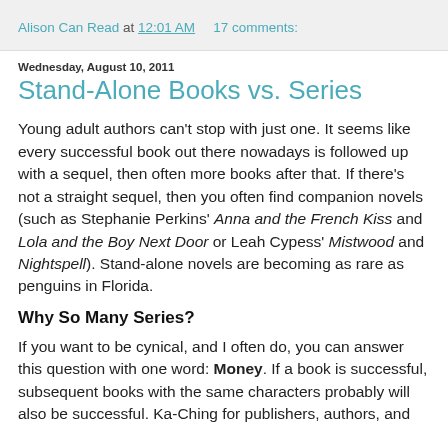Alison Can Read at 12:01 AM   17 comments:
Wednesday, August 10, 2011
Stand-Alone Books vs. Series
Young adult authors can't stop with just one. It seems like every successful book out there nowadays is followed up with a sequel, then often more books after that. If there's not a straight sequel, then you often find companion novels (such as Stephanie Perkins' Anna and the French Kiss and Lola and the Boy Next Door or Leah Cypess' Mistwood and Nightspell). Stand-alone novels are becoming as rare as penguins in Florida.
Why So Many Series?
If you want to be cynical, and I often do, you can answer this question with one word: Money. If a book is successful, subsequent books with the same characters probably will also be successful. Ka-Ching for publishers, authors, and